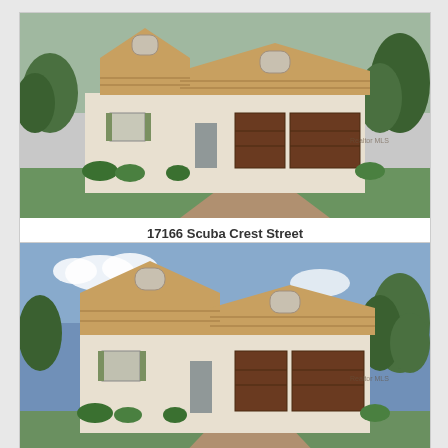[Figure (photo): Exterior rendering of a single-story Mediterranean-style home with tan stucco walls, brown tile roof, green shutters, and a two-car garage with brown wood doors. Realtor MLS watermark visible.]
17166 Scuba Crest Street
Wimauma, Florida 33598
$480,135
[Figure (photo): Exterior rendering of the same or similar single-story Mediterranean-style home with tan stucco walls, brown tile roof, green shutters, and a two-car garage with brown wood doors. Realtor MLS watermark visible. Photographed from a slightly different angle.]